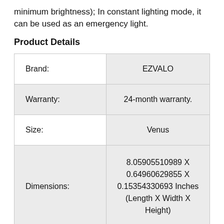minimum brightness); In constant lighting mode, it can be used as an emergency light.
Product Details
|  |  |
| --- | --- |
| Brand: | EZVALO |
| Warranty: | 24-month warranty. |
| Size: | Venus |
| Dimensions: | 8.05905510989 X 0.64960629855 X 0.15354330693 Inches (Length X Width X Height) |